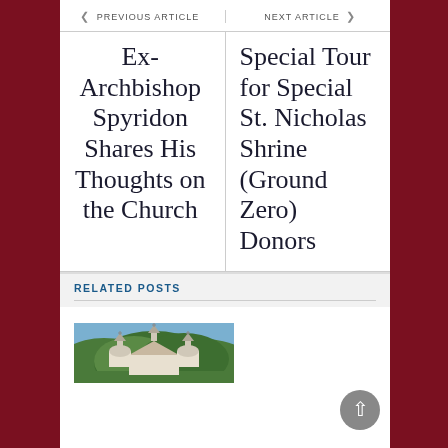PREVIOUS ARTICLE
NEXT ARTICLE
Ex-Archbishop Spyridon Shares His Thoughts on the Church
Special Tour for Special St. Nicholas Shrine (Ground Zero) Donors
RELATED POSTS
[Figure (photo): Exterior photo of an Orthodox church with white domes/steeples surrounded by forested hills]